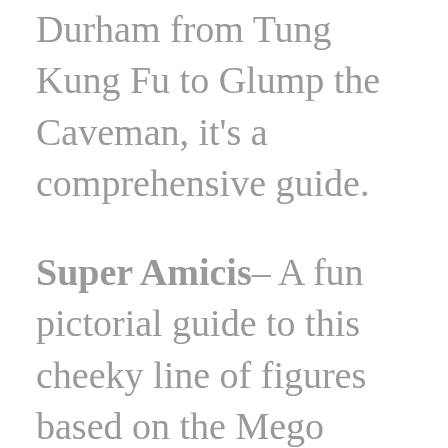Durham from Tung Kung Fu to Glump the Caveman, it's a comprehensive guide.
Super Amicis– A fun pictorial guide to this cheeky line of figures based on the Mego World's Greatest Superheroes.